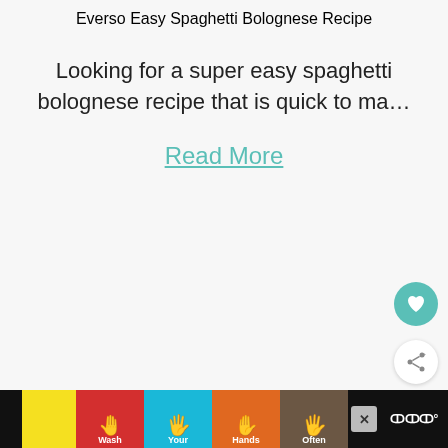Everso Easy Spaghetti Bolognese Recipe
Looking for a super easy spaghetti bolognese recipe that is quick to ma…
Read More
[Figure (photo): Blurred photo of what appears to be an animal (possibly a cat or leopard) in the background, with a dark circular cooking pan visible in the foreground. Overlaid is a 'What's Next' video recommendation panel showing 'Easy No Bake Vanilla...' and a thumbnail.]
[Figure (infographic): Advertising banner for handwashing campaign: 'Wash Your Hands Often' with colorful illustrated hands in red, cyan, orange, and dark brown panels. A close button (X) is visible.]